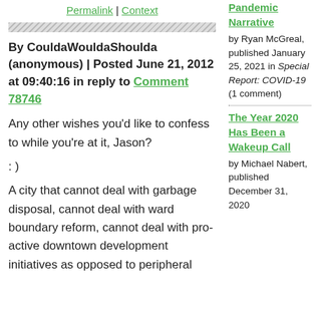Permalink | Context
By CouldaWouldaShoulda (anonymous) | Posted June 21, 2012 at 09:40:16 in reply to Comment 78746
Any other wishes you'd like to confess to while you're at it, Jason?
: )
A city that cannot deal with garbage disposal, cannot deal with ward boundary reform, cannot deal with pro-active downtown development initiatives as opposed to peripheral
Pandemic Narrative
by Ryan McGreal, published January 25, 2021 in Special Report: COVID-19 (1 comment)
The Year 2020 Has Been a Wakeup Call
by Michael Nabert, published December 31, 2020